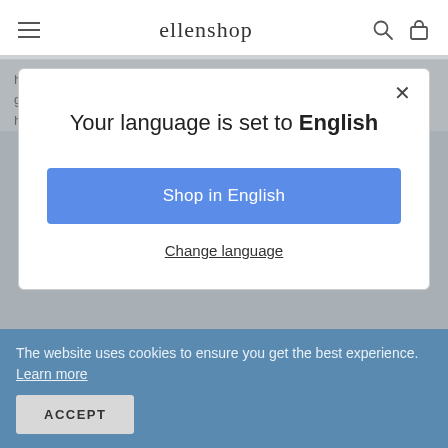ellenshop
https://techplanet.today/post/assistirhd-meu-album-de-amores-filme-gratis-em-mp4-dublado https://techplanet.today/post/assistirhd-filme-gratis-em-
× Your language is set to English
Shop in English
Change language
https://www.scoop.it/topic/guarda-one-piece-film-red-2022
The website uses cookies to ensure you get the best experience. Learn more ACCEPT